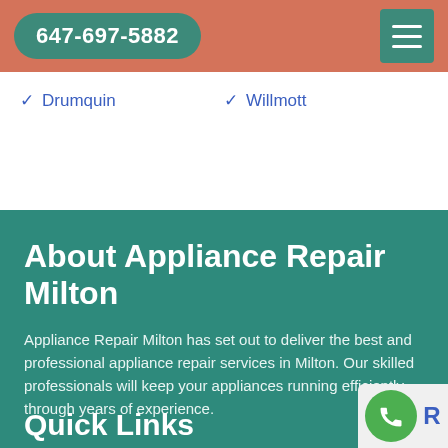647-697-5882
Drumquin
Willmott
About Appliance Repair Milton
Appliance Repair Milton has set out to deliver the best and professional appliance repair services in Milton. Our skilled professionals will keep your appliances running efficiently through years of experience.
Quick Links